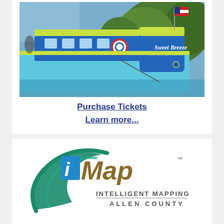[Figure (photo): Photo of the Sweet Breeze canal boat — a blue and lime green boat named 'Sweet Breeze, Fort Wayne, Indiana' with an American flag on top, floating in a river surrounded by trees.]
Purchase Tickets
Learn more...
[Figure (logo): iMap Intelligent Mapping Allen County logo — features stylized lowercase 'i' in blue, 'Map' in brown/tan, with green swoosh graphic and text 'INTELLIGENT MAPPING ALLEN COUNTY' below.]